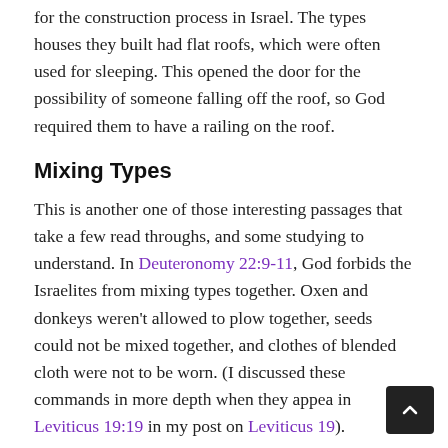for the construction process in Israel. The types houses they built had flat roofs, which were often used for sleeping. This opened the door for the possibility of someone falling off the roof, so God required them to have a railing on the roof.
Mixing Types
This is another one of those interesting passages that take a few read throughs, and some studying to understand. In Deuteronomy 22:9-11, God forbids the Israelites from mixing types together. Oxen and donkeys weren't allowed to plow together, seeds could not be mixed together, and clothes of blended cloth were not to be worn. (I discussed these commands in more depth when they appeared in Leviticus 19:19 in my post on Leviticus 19).